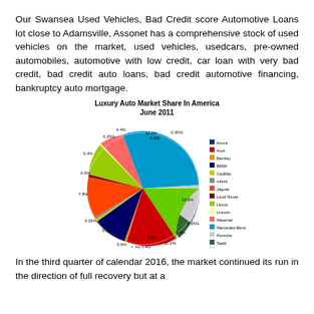Our Swansea Used Vehicles, Bad Credit score Automotive Loans lot close to Adamsville, Assonet has a comprehensive stock of used vehicles on the market, used vehicles, usedcars, pre-owned automobiles, automotive with low credit, car loan with very bad credit, bad credit auto loans, bad credit automotive financing, bankruptcy auto mortgage.
[Figure (pie-chart): Luxury Auto Market Share In America June 2011]
In the third quarter of calendar 2016, the market continued its run in the direction of full recovery but at a